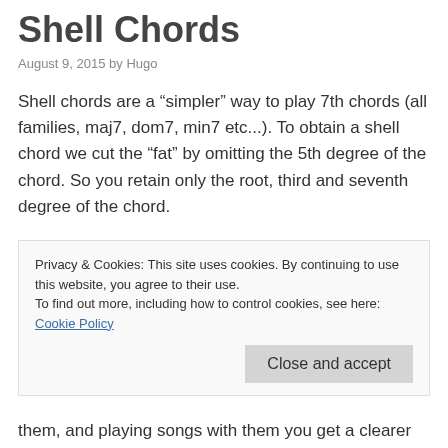Shell Chords
August 9, 2015 by Hugo
Shell chords are a "simpler" way to play 7th chords (all families, maj7, dom7, min7 etc...). To obtain a shell chord we cut the "fat" by omitting the 5th degree of the chord. So you retain only the root, third and seventh degree of the chord.
Why are we omitting the 5th degree? By doing so we make the sound of the chord less bottom heavy AND you economize on fingers (you only have 5 fingers from which
Privacy & Cookies: This site uses cookies. By continuing to use this website, you agree to their use.
To find out more, including how to control cookies, see here: Cookie Policy
them, and playing songs with them you get a clearer